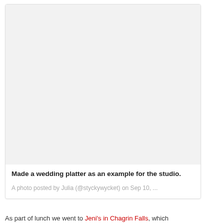[Figure (photo): Large light gray placeholder image representing a photo in a social media card]
Made a wedding platter as an example for the studio.
A photo posted by Julia (@styckywycket) on Sep 10, ...
As part of lunch we went to Jeni's in Chagrin Falls, which